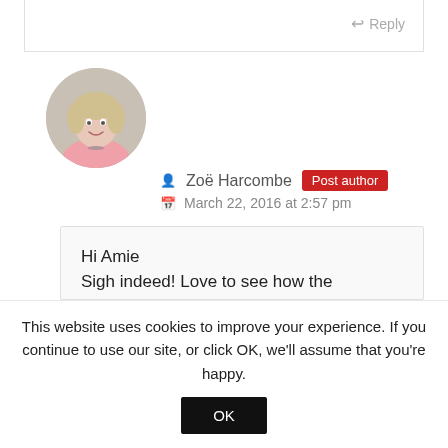Reply
[Figure (photo): Circular avatar photo of Zoë Harcombe, a woman with short blonde hair wearing a pink top]
Zoë Harcombe  Post author
March 22, 2016 at 2:57 pm
Hi Amie
Sigh indeed! Love to see how the displaced animals whose homes have been hacked down for rape fields are getting on!
Many thanks for your other post on the sugar
This website uses cookies to improve your experience. If you continue to use our site, or click OK, we'll assume that you're happy.